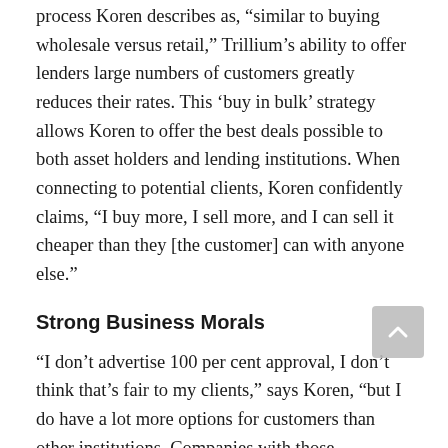process Koren describes as, “similar to buying wholesale versus retail,” Trillium’s ability to offer lenders large numbers of customers greatly reduces their rates. This ‘buy in bulk’ strategy allows Koren to offer the best deals possible to both asset holders and lending institutions. When connecting to potential clients, Koren confidently claims, “I buy more, I sell more, and I can sell it cheaper than they [the customer] can with anyone else.”
Strong Business Morals
“I don’t advertise 100 per cent approval, I don’t think that’s fair to my clients,” says Koren, “but I do have a lot more options for customers than other institutions. Companies with those guarantees usually only deal in specific industries and will only take on certain, prime clients. That’s not what I want. We want to be the go-to